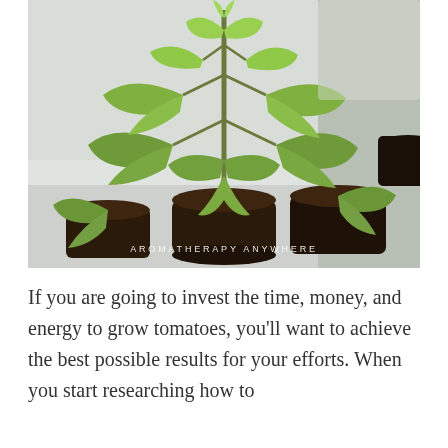[Figure (photo): Close-up photograph of tomato seedlings in small black plastic pots arranged in a white tray, with green lobed leaves visible prominently. Watermark text 'AROMATHERAPY ANYWHERE' appears at the bottom of the image.]
If you are going to invest the time, money, and energy to grow tomatoes, you’ll want to achieve the best possible results for your efforts. When you start researching how to